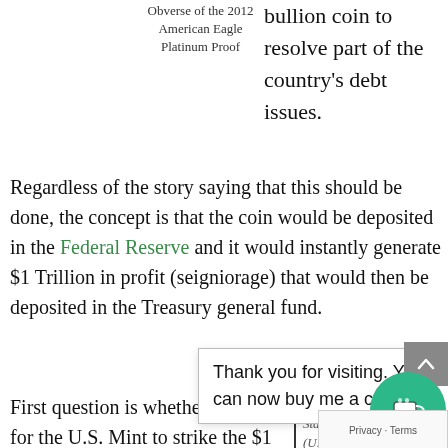Obverse of the 2012 American Eagle Platinum Proof
bullion coin to resolve part of the country's debt issues.
Regardless of the story saying that this should be done, the concept is that the coin would be deposited in the Federal Reserve and it would instantly generate $1 Trillion in profit (seigniorage) that would then be deposited in the Treasury general fund.
Regardless of the legal structure, you are...
Thank you for visiting. You can now buy me a coffee!
First question is whether it is legal for the U.S. Mint to strike the $1 Trillion coin. Although there are
The United States Code (U.S.C.) is a codification of the laws of the